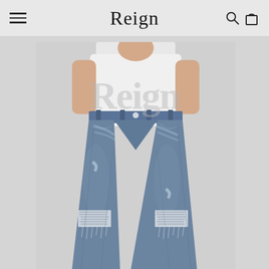Reign
[Figure (photo): Woman wearing distressed medium-wash straight-leg jeans with a white top. The jeans feature ripped knees and whiskering details, shown from waist to mid-calf.]